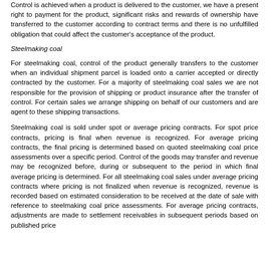Control is achieved when a product is delivered to the customer, we have a present right to payment for the product, significant risks and rewards of ownership have transferred to the customer according to contract terms and there is no unfulfilled obligation that could affect the customer's acceptance of the product.
Steelmaking coal
For steelmaking coal, control of the product generally transfers to the customer when an individual shipment parcel is loaded onto a carrier accepted or directly contracted by the customer. For a majority of steelmaking coal sales we are not responsible for the provision of shipping or product insurance after the transfer of control. For certain sales we arrange shipping on behalf of our customers and are agent to these shipping transactions.
Steelmaking coal is sold under spot or average pricing contracts. For spot price contracts, pricing is final when revenue is recognized. For average pricing contracts, the final pricing is determined based on quoted steelmaking coal price assessments over a specific period. Control of the goods may transfer and revenue may be recognized before, during or subsequent to the period in which final average pricing is determined. For all steelmaking coal sales under average pricing contracts where pricing is not finalized when revenue is recognized, revenue is recorded based on estimated consideration to be received at the date of sale with reference to steelmaking coal price assessments. For average pricing contracts, adjustments are made to settlement receivables in subsequent periods based on published price